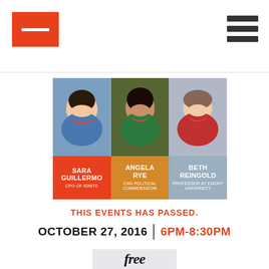[Figure (photo): Three speaker headshots: Sara Guillermo (CPO of IGNITE), Angela Rye (CNN Political Commentator), Beth Reingold (Professor at Emory University), each with name and title labels below]
THIS EVENTS HAS PASSED.
OCTOBER 27, 2016 | 6PM-8:30PM
[Figure (other): Partial view of a 'free' badge/label in cursive script]